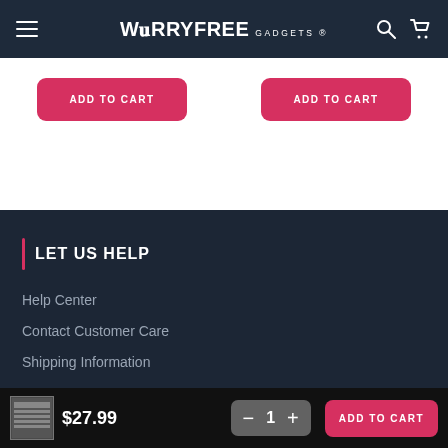WorryFree Gadgets
[Figure (screenshot): Two red ADD TO CART buttons on white background, partially visible product cards]
LET US HELP
Help Center
Contact Customer Care
Shipping Information
FAQs
Returns Policy
$27.99  1  ADD TO CART